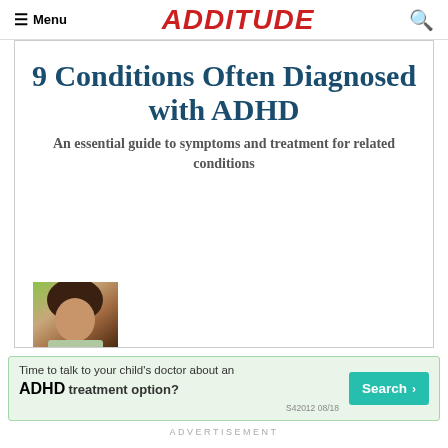≡ Menu   ADDITUDE   🔍
9 Conditions Often Diagnosed with ADHD
An essential guide to symptoms and treatment for related conditions
[Figure (photo): Partial view of a person's face/head at the bottom left of the article card]
[Figure (screenshot): Advertisement banner: 'Time to talk to your child's doctor about an ADHD treatment option?' with a Search button. S42012 08/18]
ADVERTISEMENT